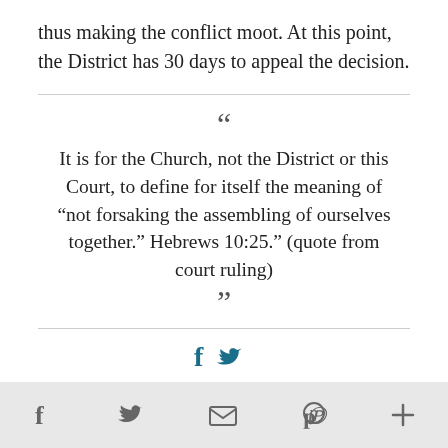thus making the conflict moot. At this point, the District has 30 days to appeal the decision.
It is for the Church, not the District or this Court, to define for itself the meaning of “not forsaking the assembling of ourselves together.” Hebrews 10:25.” (quote from court ruling)
[Figure (infographic): Social share icons: Facebook (f) and Twitter (bird) in teal/dark blue]
Footer social sharing bar with icons: f (Facebook), Twitter bird, envelope (email), Pinterest (P), plus (+)